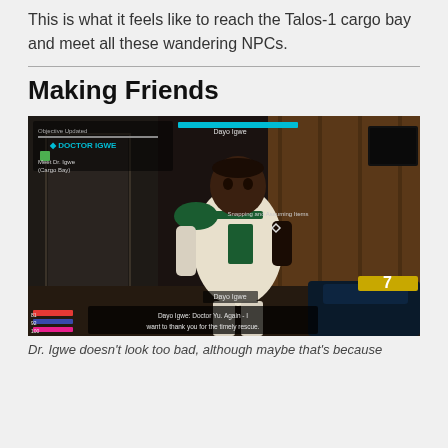This is what it feels like to reach the Talos-1 cargo bay and meet all these wandering NPCs.
Making Friends
[Figure (screenshot): Video game screenshot from Prey showing Doctor Igwe character in the cargo bay. HUD elements visible including objective tracker showing 'DOCTOR IGWE' and 'Meet Dr. Igwe (Cargo Bay)', health/shield bars in bottom left, character name label 'Dayo Igwe', and dialogue text reading 'Dayo Igwe: Doctor Yu. Again - I want to thank you for the timely rescue.']
Dr. Igwe doesn't look too bad, although maybe that's because